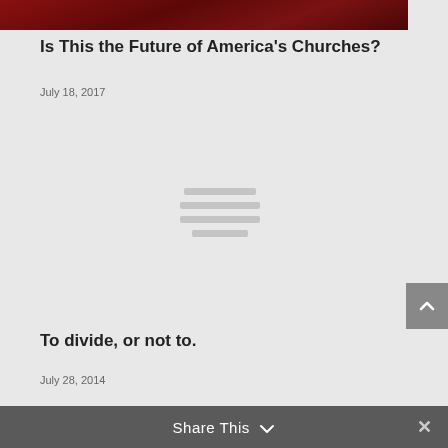[Figure (photo): Dark red/maroon textured image at top, partially visible]
Is This the Future of America’s Churches?
July 18, 2017
[Figure (other): Gray placeholder image with horizontal lines icon in center]
To divide, or not to.
July 28, 2014
Share This ∨